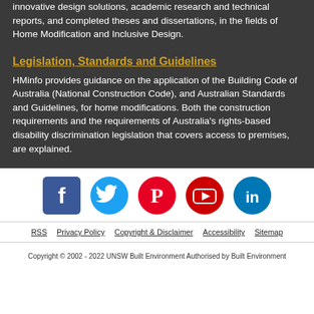innovative design solutions, academic research and technical reports, and completed theses and dissertations, in the fields of Home Modification and Inclusive Design.
Legislation, Standards and Guidelines
HMinfo provides guidance on the application of the Building Code of Australia (National Construction Code), and Australian Standards and Guidelines, for home modifications. Both the construction requirements and the requirements of Australia's rights-based disability discrimination legislation that covers access to premises, are explained.
[Figure (illustration): Social media icons: Facebook, Twitter, Pinterest, YouTube, LinkedIn]
RSS  Privacy Policy  Copyright & Disclaimer  Accessibility  Sitemap
Copyright © 2002 - 2022 UNSW Built Environment Authorised by Built Environment